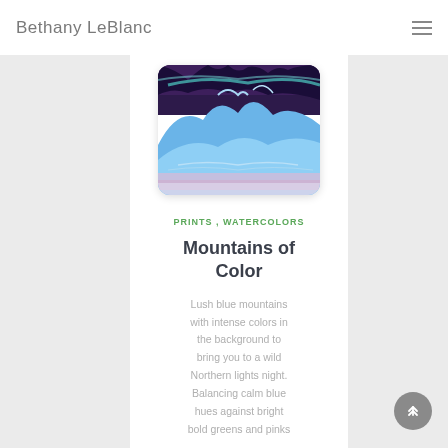Bethany LeBlanc
[Figure (illustration): Painting of blue mountains with intense purple and teal colors, depicting a Northern Lights night scene with dreamy hues]
PRINTS , WATERCOLORS
Mountains of Color
Lush blue mountains with intense colors in the background to bring you to a wild Northern lights night. Balancing calm blue hues against bright bold greens and pinks